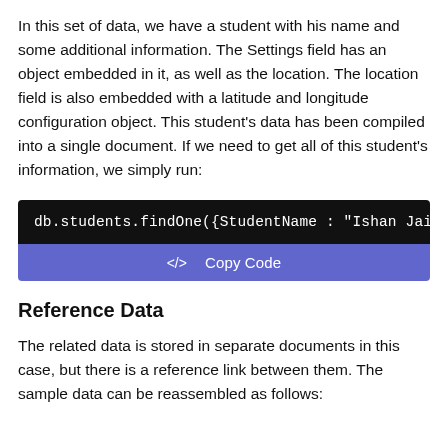In this set of data, we have a student with his name and some additional information. The Settings field has an object embedded in it, as well as the location. The location field is also embedded with a latitude and longitude configuration object. This student's data has been compiled into a single document. If we need to get all of this student's information, we simply run:
[Figure (screenshot): Code block with black background showing: db.students.findOne({StudentName : "Ishan Jain"}) followed by a purple Copy Code bar]
Reference Data
The related data is stored in separate documents in this case, but there is a reference link between them. The sample data can be reassembled as follows: